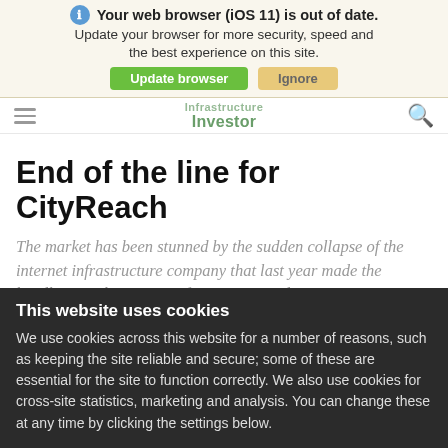Your web browser (iOS 11) is out of date. Update your browser for more security, speed and the best experience on this site. [Update browser] [Ignore]
[Figure (screenshot): Infrastructure Investor navigation bar with hamburger menu, logo, and search icon]
End of the line for CityReach
The market has been stunned by the sudden collapse of the internet infrastructure company that last year made the headlines with a massive financing round.
PELS staff · 22 October 2001
This website uses cookies
We use cookies across this website for a number of reasons, such as keeping the site reliable and secure; some of these are essential for the site to function correctly. We also use cookies for cross-site statistics, marketing and analysis. You can change these at any time by clicking the settings below.